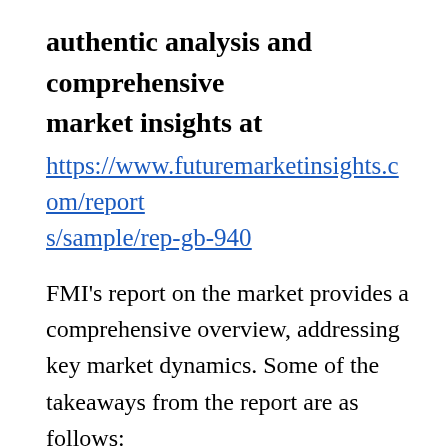authentic analysis and comprehensive market insights at
https://www.futuremarketinsights.com/reports/sample/rep-gb-940
FMI’s report on the market provides a comprehensive overview, addressing key market dynamics. Some of the takeaways from the report are as follows:
The global welding consumable market is estimated to be valued at US$ 26.82 Bn